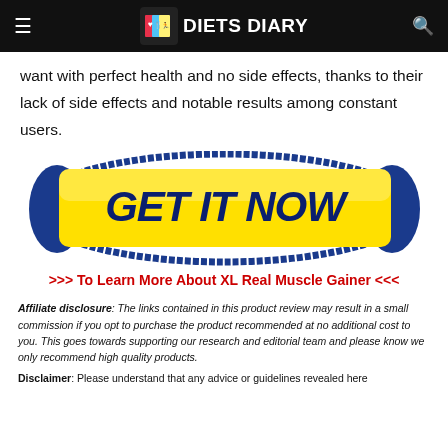≡ DIETS DIARY 🔍
want with perfect health and no side effects, thanks to their lack of side effects and notable results among constant users.
[Figure (other): Yellow 'GET IT NOW' button with blue oval border, call-to-action graphic]
>>> To Learn More About XL Real Muscle Gainer <<<
Affiliate disclosure: The links contained in this product review may result in a small commission if you opt to purchase the product recommended at no additional cost to you. This goes towards supporting our research and editorial team and please know we only recommend high quality products.
Disclaimer: Please understand that any advice or guidelines revealed here